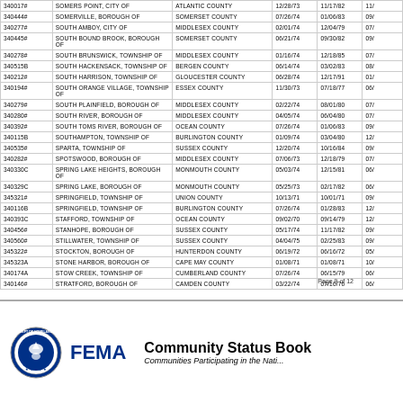| Community ID | Community Name | County | Init FHBM | Init FIRM | Curr Eff |
| --- | --- | --- | --- | --- | --- |
| 340017# | SOMERS POINT, CITY OF | ATLANTIC COUNTY | 12/28/73 | 11/17/82 | 11/ |
| 340444# | SOMERVILLE, BOROUGH OF | SOMERSET COUNTY | 07/26/74 | 01/06/83 | 09/ |
| 340277# | SOUTH AMBOY, CITY OF | MIDDLESEX COUNTY | 02/01/74 | 12/04/79 | 07/ |
| 340445# | SOUTH BOUND BROOK, BOROUGH OF | SOMERSET COUNTY | 06/21/74 | 09/30/82 | 09/ |
| 340278# | SOUTH BRUNSWICK, TOWNSHIP OF | MIDDLESEX COUNTY | 01/16/74 | 12/18/85 | 07/ |
| 340515B | SOUTH HACKENSACK, TOWNSHIP OF | BERGEN COUNTY | 06/14/74 | 03/02/83 | 08/ |
| 340212# | SOUTH HARRISON, TOWNSHIP OF | GLOUCESTER COUNTY | 06/28/74 | 12/17/91 | 01/ |
| 340194# | SOUTH ORANGE VILLAGE, TOWNSHIP OF | ESSEX COUNTY | 11/30/73 | 07/18/77 | 06/ |
| 340279# | SOUTH PLAINFIELD, BOROUGH OF | MIDDLESEX COUNTY | 02/22/74 | 08/01/80 | 07/ |
| 340280# | SOUTH RIVER, BOROUGH OF | MIDDLESEX COUNTY | 04/05/74 | 06/04/80 | 07/ |
| 340392# | SOUTH TOMS RIVER, BOROUGH OF | OCEAN COUNTY | 07/26/74 | 01/06/83 | 09/ |
| 340115B | SOUTHAMPTON, TOWNSHIP OF | BURLINGTON COUNTY | 01/09/74 | 03/04/80 | 12/ |
| 340535# | SPARTA, TOWNSHIP OF | SUSSEX COUNTY | 12/20/74 | 10/16/84 | 09/ |
| 340282# | SPOTSWOOD, BOROUGH OF | MIDDLESEX COUNTY | 07/06/73 | 12/18/79 | 07/ |
| 340330C | SPRING LAKE HEIGHTS, BOROUGH OF | MONMOUTH COUNTY | 05/03/74 | 12/15/81 | 06/ |
| 340329C | SPRING LAKE, BOROUGH OF | MONMOUTH COUNTY | 05/25/73 | 02/17/82 | 06/ |
| 345321# | SPRINGFIELD, TOWNSHIP OF | UNION COUNTY | 10/13/71 | 10/01/71 | 09/ |
| 340116B | SPRINGFIELD, TOWNSHIP OF | BURLINGTON COUNTY | 07/26/74 | 01/28/83 | 12/ |
| 340393C | STAFFORD, TOWNSHIP OF | OCEAN COUNTY | 09/02/70 | 09/14/79 | 12/ |
| 340456# | STANHOPE, BOROUGH OF | SUSSEX COUNTY | 05/17/74 | 11/17/82 | 09/ |
| 340560# | STILLWATER, TOWNSHIP OF | SUSSEX COUNTY | 04/04/75 | 02/25/83 | 09/ |
| 345322# | STOCKTON, BOROUGH OF | HUNTERDON COUNTY | 06/19/72 | 06/16/72 | 05/ |
| 345323A | STONE HARBOR, BOROUGH OF | CAPE MAY COUNTY | 01/08/71 | 01/08/71 | 10/ |
| 340174A | STOW CREEK, TOWNSHIP OF | CUMBERLAND COUNTY | 07/26/74 | 06/15/79 | 06/ |
| 340146# | STRATFORD, BOROUGH OF | CAMDEN COUNTY | 03/22/74 | 07/16/76 | 06/ |
Page 9 of 12
[Figure (logo): FEMA seal/logo circular emblem]
Community Status Book
Communities Participating in the Nati...